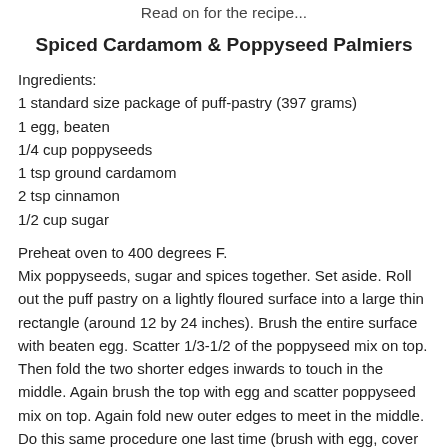Read on for the recipe...
Spiced Cardamom & Poppyseed Palmiers
Ingredients:
1 standard size package of puff-pastry (397 grams)
1 egg, beaten
1/4 cup poppyseeds
1 tsp ground cardamom
2 tsp cinnamon
1/2 cup sugar
Preheat oven to 400 degrees F.
Mix poppyseeds, sugar and spices together. Set aside.
Roll out the puff pastry on a lightly floured surface into a large thin rectangle (around 12 by 24 inches). Brush the entire surface with beaten egg. Scatter 1/3-1/2 of the poppyseed mix on top. Then fold the two shorter edges inwards to touch in the middle. Again brush the top with egg and scatter poppyseed mix on top. Again fold new outer edges to meet in the middle. Do this same procedure one last time (brush with egg, cover with poppyseeds). Then fold